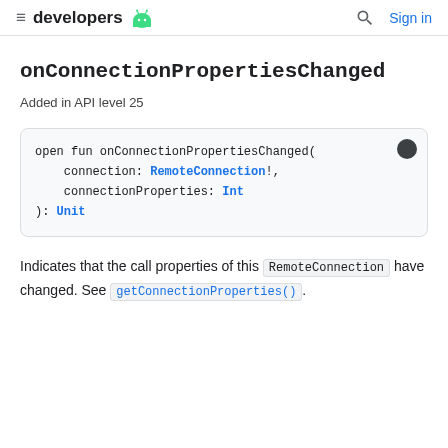≡ developers [android logo] | [search] Sign in
onConnectionPropertiesChanged
Added in API level 25
[Figure (screenshot): Code block showing: open fun onConnectionPropertiesChanged(
    connection: RemoteConnection!,
    connectionProperties: Int
): Unit]
Indicates that the call properties of this RemoteConnection have changed. See getConnectionProperties().